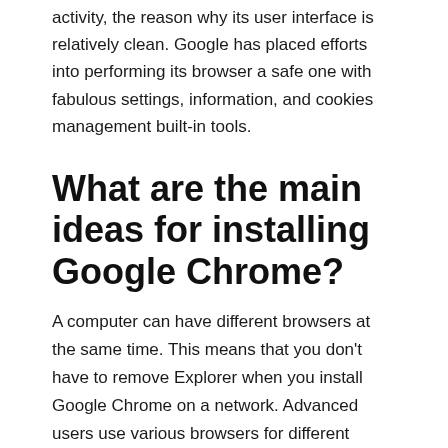activity, the reason why its user interface is relatively clean. Google has placed efforts into performing its browser a safe one with fabulous settings, information, and cookies management built-in tools.
What are the main ideas for installing Google Chrome?
A computer can have different browsers at the same time. This means that you don't have to remove Explorer when you install Google Chrome on a network. Advanced users use various browsers for different purposes.
Google Chrome is the most suitable choice for